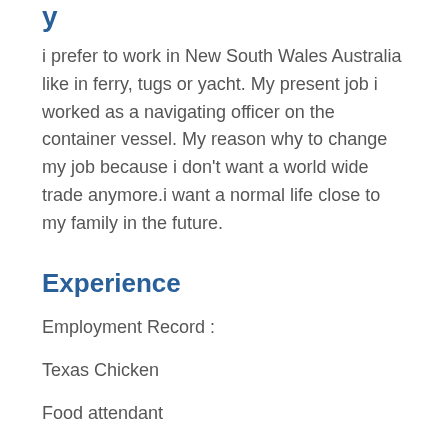y
i prefer to work in New South Wales Australia like in ferry, tugs or yacht. My present job i worked as a navigating officer on the container vessel. My reason why to change my job because i don't want a world wide trade anymore.i want a normal life close to my family in the future.
Experience
Employment Record :
Texas Chicken
Food attendant
January 1997 – July 1997
Virgin Cafe Makati Philippine